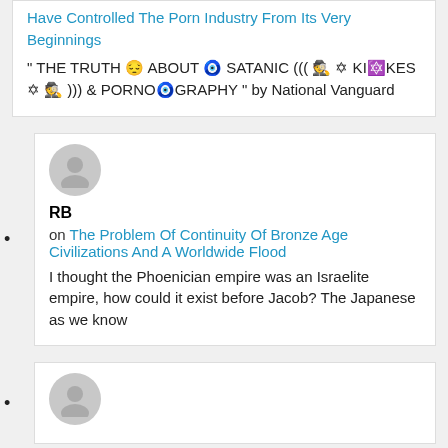Have Controlled The Porn Industry From Its Very Beginnings
" THE TRUTH 😔 ABOUT 🧿 SATANIC ((( 🕵 ✡ KI🔯KES ✡ 🕵 ))) & PORNO🧿GRAPHY " by National Vanguard
[Figure (illustration): Gray avatar icon for user RB]
RB
on The Problem Of Continuity Of Bronze Age Civilizations And A Worldwide Flood
I thought the Phoenician empire was an Israelite empire, how could it exist before Jacob? The Japanese as we know
[Figure (illustration): Gray avatar icon for second user]